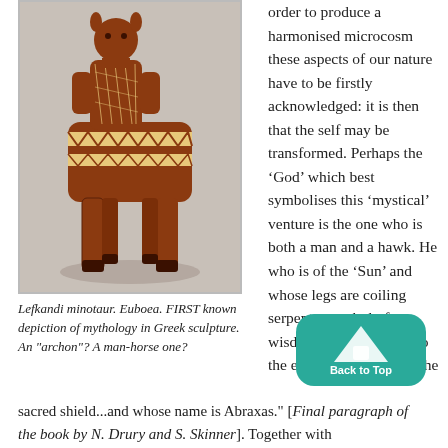[Figure (photo): Photograph of the Lefkandi minotaur, a ceramic man-horse sculpture from Euboea, decorated with geometric patterns in red, black, and cream. The figure has a human-like torso and a horse body, with painted zigzag and crosshatch designs.]
Lefkandi minotaur. Euboea. FIRST known depiction of mythology in Greek sculpture. An "archon"? A man-horse one?
order to produce a harmonised microcosm these aspects of our nature have to be firstly acknowledged: it is then that the self may be transformed. Perhaps the ‘God’ which best symbolises this ‘mystical’ venture is the one who is both a man and a hawk. He who is of the ‘Sun’ and whose legs are coiling serpents; symbol of wisdom reaching down to the earth. He who holds the
sacred shield...and whose name is Abraxas." [Final paragraph of the book by N. Drury and S. Skinner]. Together with